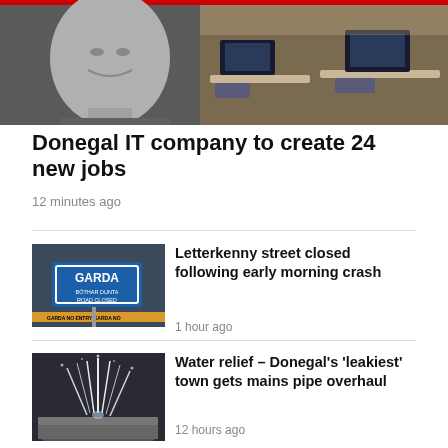[Figure (photo): Top banner image: left half shows a black-and-white close-up of a man's face (smiling), right half shows a modern office workspace with desks, chairs, and monitors in color; red stripe at top]
Donegal IT company to create 24 new jobs
12 minutes ago
[Figure (photo): Garda road-closed sign with blue background and white text, tape reading 'GARDA NO ENTRY']
Letterkenny street closed following early morning crash
1 hour ago
[Figure (photo): Close-up of a leaking water pipe with water spraying out under pressure, dark background]
Water relief – Donegal's 'leakiest' town gets mains pipe overhaul
12 hours ago